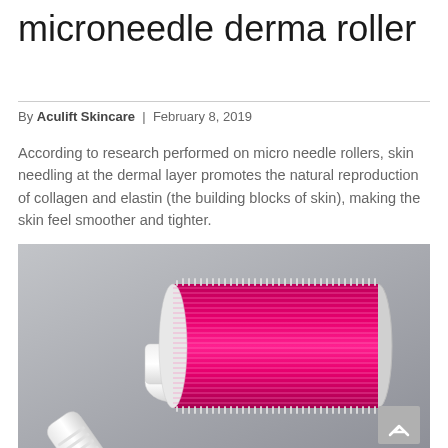microneedle derma roller
By Aculift Skincare | February 8, 2019
According to research performed on micro needle rollers, skin needling at the dermal layer promotes the natural reproduction of collagen and elastin (the building blocks of skin), making the skin feel smoother and tighter.
[Figure (photo): Close-up photo of a microneedle derma roller with a white plastic handle and a cylindrical roller head covered in dense pink/magenta microneedles, against a grey background.]